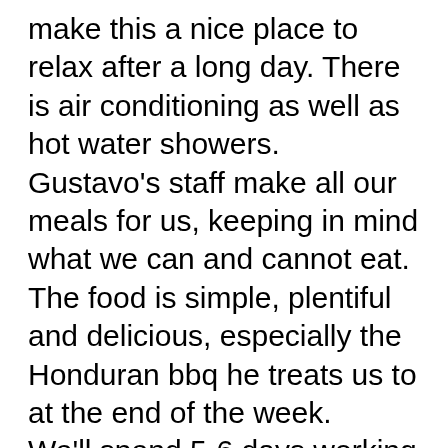make this a nice place to relax after a long day. There is air conditioning as well as hot water showers. Gustavo's staff make all our meals for us, keeping in mind what we can and cannot eat. The food is simple, plentiful and delicious, especially the Honduran bbq he treats us to at the end of the week. We'll spend 5-6 days working in local villages and Casita Copan, the local orphanage/foster home. Your talents are exactly what we need – whatever they are! If you are interested in helping with the dental service, Patty